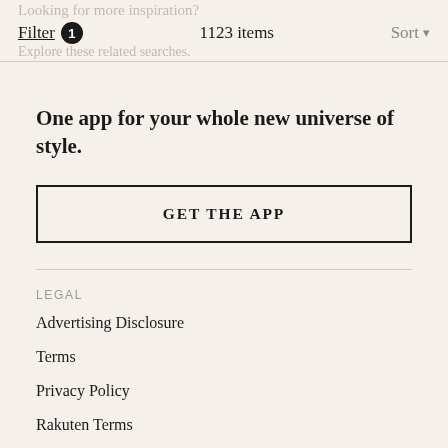Filter 1   1123 items   Sort
Looking for more inspiration? Explore these related searches.
One app for your whole new universe of style.
GET THE APP
LEGAL
Advertising Disclosure
Terms
Privacy Policy
Rakuten Terms
Rakuten Privacy Policy